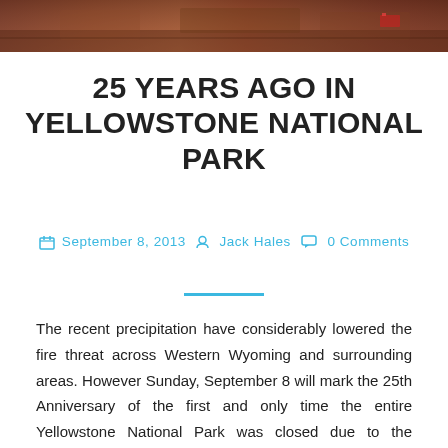[Figure (photo): Aerial or wide-angle photo of Yellowstone National Park area, with reddish-brown tones suggesting fire or arid landscape, shown as a horizontal banner at the top of the page.]
25 YEARS AGO IN YELLOWSTONE NATIONAL PARK
September 8, 2013  Jack Hales  0 Comments
The recent precipitation have considerably lowered the fire threat across Western Wyoming and surrounding areas. However Sunday, September 8 will mark the 25th Anniversary of the first and only time the entire Yellowstone National Park was closed due to the massive 1988 Yellowstone Fire.